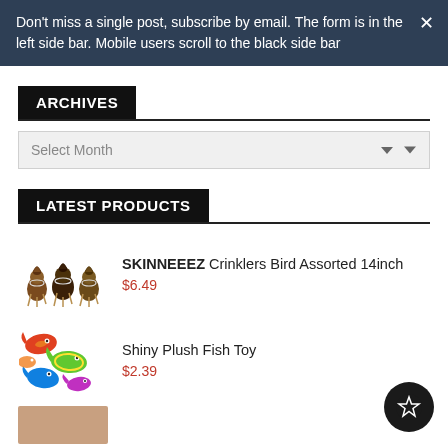Don't miss a single post, subscribe by email. The form is in the left side bar. Mobile users scroll to the black side bar
ARCHIVES
Select Month
LATEST PRODUCTS
SKINNEEEZ Crinklers Bird Assorted 14inch
$6.49
Shiny Plush Fish Toy
$2.39